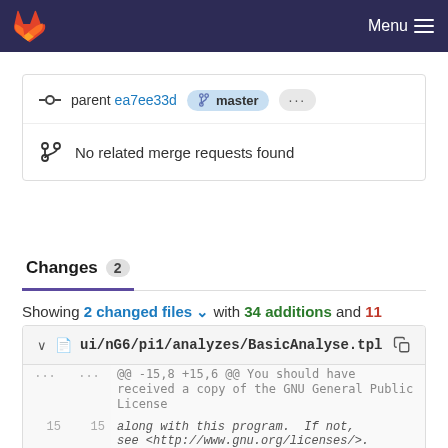GitLab — Menu
parent ea7ee33d  master  ...
No related merge requests found
Changes 2
Showing 2 changed files with 34 additions and 11 deletions
ui/nG6/pi1/analyzes/BasicAnalyse.tpl
| old | new | content |
| --- | --- | --- |
| ... | ... | @@ -15,8 +15,6 @@ You should have received a copy of the GNU General Public License |
| 15 | 15 | along with this program.  If not, see <http://www.gnu.org/licenses/>. |
| 16 | 16 |  |